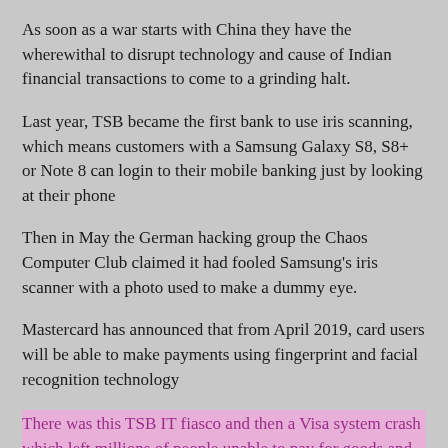As soon as a war starts with China they have the wherewithal to disrupt technology and cause of Indian financial transactions to come to a grinding halt.
Last year, TSB became the first bank to use iris scanning, which means customers with a Samsung Galaxy S8, S8+ or Note 8 can login to their mobile banking just by looking at their phone
Then in May the German hacking group the Chaos Computer Club claimed it had fooled Samsung's iris scanner with a photo used to make a dummy eye.
Mastercard has announced that from April 2019, card users will be able to make payments using fingerprint and facial recognition technology
There was this TSB IT fiasco and then a Visa system crash which left millions of people unable to pay for goods and services across Europe